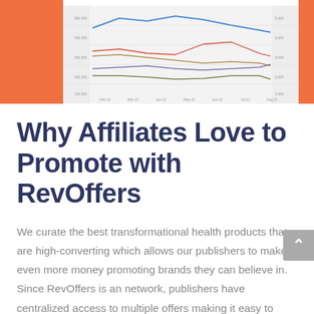[Figure (line-chart): Partial view of a multi-line chart showing several trend lines (blue, red/orange, olive/green, purple) over time, with a light grey background and axis labels partially visible. The chart is cropped at the top.]
Why Affiliates Love to Promote with RevOffers
We curate the best transformational health products that are high-converting which allows our publishers to make even more money promoting brands they can believe in. Since RevOffers is an network, publishers have centralized access to multiple offers making it easy to promote, track